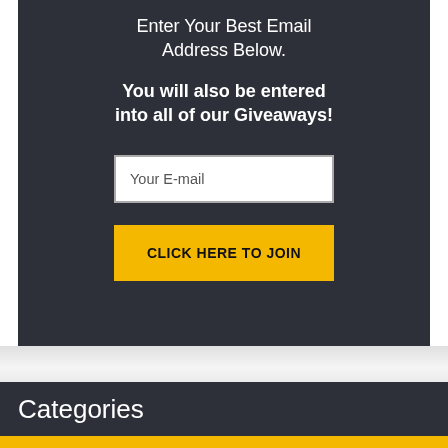Enter Your Best Email Address Below.
You will also be entered into all of our Giveaways!
Your E-mail
CLICK HERE TO JOIN
Categories